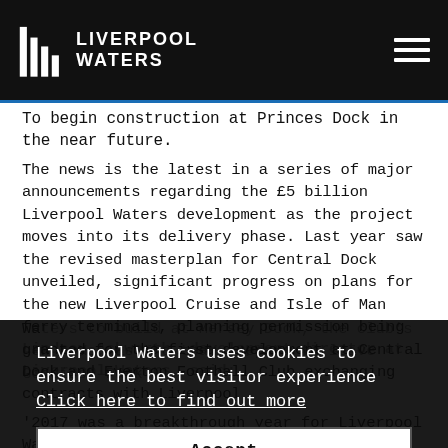Liverpool Waters
To begin construction at Princes Dock in the near future.
The news is the latest in a series of major announcements regarding the £5 billion Liverpool Waters development as the project moves into its delivery phase. Last year saw the revised masterplan for Central Dock unveiled, significant progress on plans for the new Liverpool Cruise and Isle of Man ferry terminals, planning permission being granted for the first development at Central Dock and Everton Football Club exchanging contracts with Liverpool Waters to build at Mersey Dock, the club's new home, as the team prepare to leave Goodison Park.
Lindsey Ashworth, development director at Liverpool Waters, said:
Liverpool Waters uses cookies to ensure the best visitor experience
Click here to find out more
Accept
'2017 was a breakthrough year for Liverpool Waters so it is fitting that the first building work now starts this new year. 2018 will be a significant year for the project